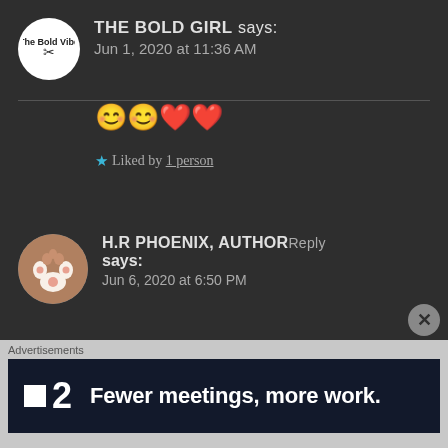THE BOLD GIRL says: Jun 1, 2020 at 11:36 AM
😊😊❤️❤️
★ Liked by 1 person
H.R PHOENIX, AUTHOR Reply says: Jun 6, 2020 at 6:50 PM
I see you have posted a lot. I am soooooooo sooooo sorry for not reading your recent posts.
Advertisements
■2  Fewer meetings, more work.